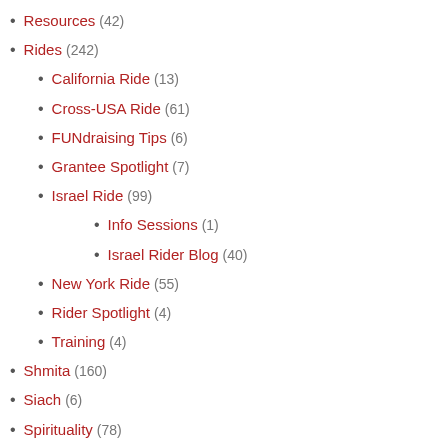Resources (42)
Rides (242)
California Ride (13)
Cross-USA Ride (61)
FUNdraising Tips (6)
Grantee Spotlight (7)
Israel Ride (99)
Info Sessions (1)
Israel Rider Blog (40)
New York Ride (55)
Rider Spotlight (4)
Training (4)
Shmita (160)
Siach (6)
Spirituality (78)
Teens (16)
Teva (12)
Topsy Turvy Bus Tour (8)
Tzedek/Justice (46)
Uncategorized (13)